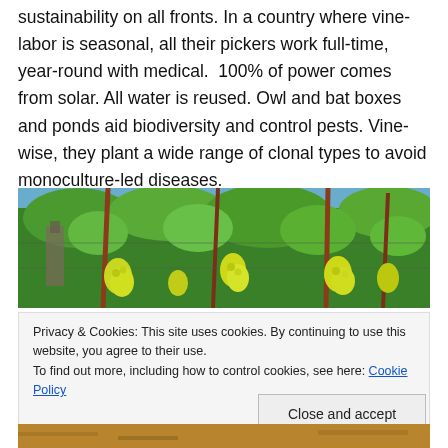sustainability on all fronts. In a country where vine-labor is seasonal, all their pickers work full-time, year-round with medical.  100% of power comes from solar. All water is reused. Owl and bat boxes and ponds aid biodiversity and control pests. Vine-wise, they plant a wide range of clonal types to avoid monoculture-led diseases.
[Figure (photo): Photograph of grapevines with green grape clusters hanging from vines, shot from below looking up, with blue sky visible.]
Privacy & Cookies: This site uses cookies. By continuing to use this website, you agree to their use.
To find out more, including how to control cookies, see here: Cookie Policy
Close and accept
[Figure (photo): Partial view of a ground-level photo, brown/sandy soil tones visible at bottom of page.]